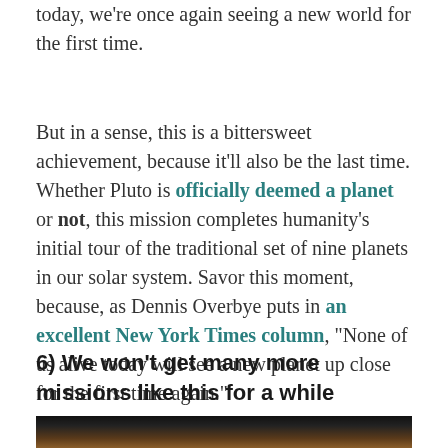today, we're once again seeing a new world for the first time.
But in a sense, this is a bittersweet achievement, because it'll also be the last time. Whether Pluto is officially deemed a planet or not, this mission completes humanity's initial tour of the traditional set of nine planets in our solar system. Savor this moment, because, as Dennis Overbye puts in an excellent New York Times column, "None of us alive today will see a new planet up close for the first time again."
6) We won't get many more missions like this for a while
[Figure (photo): Close-up photo of Pluto against a dark background, showing the planet's reddish-brown surface]